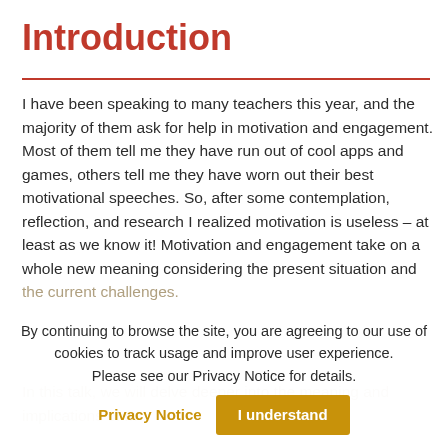Introduction
I have been speaking to many teachers this year, and the majority of them ask for help in motivation and engagement. Most of them tell me they have run out of cool apps and games, others tell me they have worn out their best motivational speeches. So, after some contemplation, reflection, and research I realized motivation is useless – at least as we know it! Motivation and engagement take on a whole new meaning considering the present situation and the current challenges.
By continuing to browse the site, you are agreeing to our use of cookies to track usage and improve user experience. Please see our Privacy Notice for details.
Privacy Notice   I understand
In this talk, we will delve deeper into the meaning and implications of motivation and engagement in online learning. We need not forget everything we've learned but